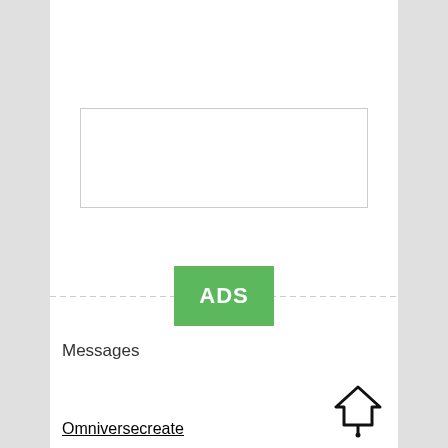[Figure (screenshot): Mobile app UI screenshot showing a section with an ADS badge (green rectangle with white text), a text input area, a Messages label, and an Omniversecreate underlined link with a house/location icon.]
ADS
Messages
Omniversecreate